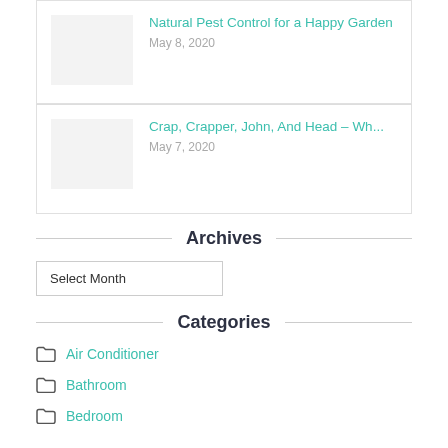Natural Pest Control for a Happy Garden
May 8, 2020
Crap, Crapper, John, And Head – Wh...
May 7, 2020
Archives
Select Month
Categories
Air Conditioner
Bathroom
Bedroom